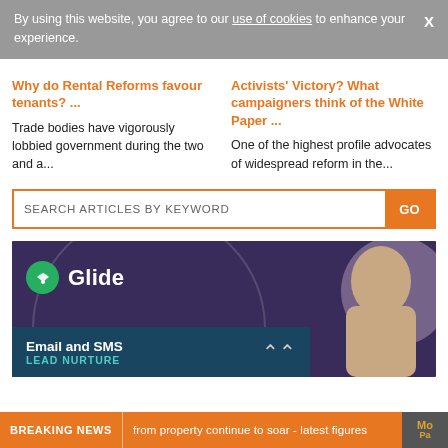By using this website, you agree to our use of cookies to enhance your experience.
Why do Rental Reforms favour tenants? ...
Trade bodies have vigorously lobbied government during the two and a...
Activists' Victory? What campaigners think of the White Paper ...
One of the highest profile advocates of widespread reform in the...
SEARCH ARTICLES BY KEYWORD
[Figure (screenshot): Glide brand advertisement with logo showing a person on phone, Email and SMS Lead Nurture bar at bottom]
BREAKING NEWS | from property continue to soar - latest figures